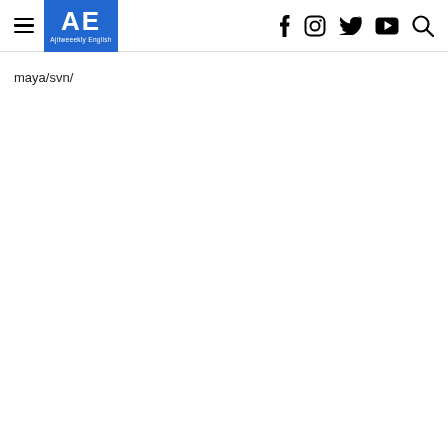AE Ajitweeekly English — navigation header with hamburger menu, logo, and social icons (f, instagram, twitter, youtube, search)
maya/svn/